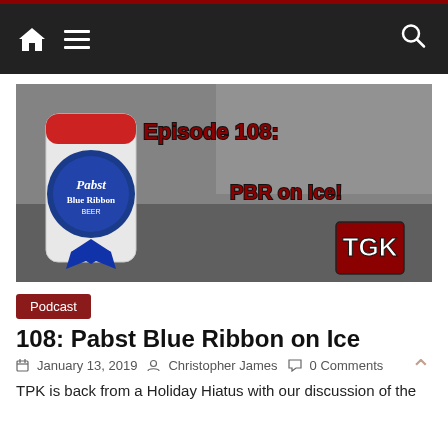Navigation bar with home, menu, and search icons
[Figure (photo): Pabst Blue Ribbon beer can in black and white photo with red overlay text reading 'Episode 108: PBR on Ice!' and a TGK logo in the bottom right corner]
Podcast
108: Pabst Blue Ribbon on Ice
January 13, 2019   Christopher James   0 Comments
TPK is back from a Holiday Hiatus with our discussion of the